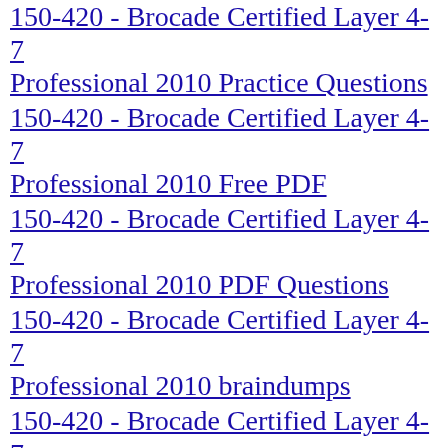150-420 - Brocade Certified Layer 4-7 Professional 2010 Practice Questions
150-420 - Brocade Certified Layer 4-7 Professional 2010 Free PDF
150-420 - Brocade Certified Layer 4-7 Professional 2010 PDF Questions
150-420 - Brocade Certified Layer 4-7 Professional 2010 braindumps
150-420 - Brocade Certified Layer 4-7 Professional 2010 testing
150-420 - Brocade Certified Layer 4-7 Professional 2010 test
150-420 - Brocade Certified Layer 4-7 Professional 2010 test syllabus
150-420 - Brocade Certified Layer 4-7 Professional 2010 testing
150-420 - Brocade Certified Layer 4-7 Professional 2010 Practice T...